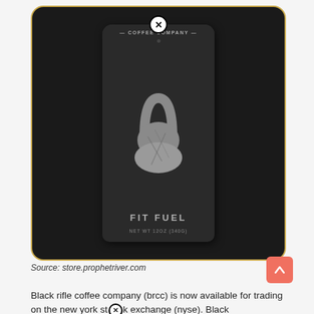[Figure (photo): Black coffee bag with kettlebell logo labeled 'FIT FUEL', NET WT 12OZ (340G), from a coffee company. Dark background with rounded border and gold/yellow border outline.]
Source: store.prophetriver.com
Black rifle coffee company (brcc) is now available for trading on the new york stock exchange (nyse). Black